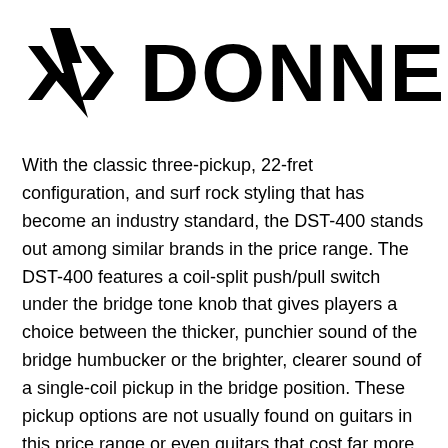[Figure (logo): Donner brand logo with a stylized sound wave / lightning bolt icon on the left and the word DONNER in bold black letters on the right]
With the classic three-pickup, 22-fret configuration, and surf rock styling that has become an industry standard, the DST-400 stands out among similar brands in the price range. The DST-400 features a coil-split push/pull switch under the bridge tone knob that gives players a choice between the thicker, punchier sound of the bridge humbucker or the brighter, clearer sound of a single-coil pickup in the bridge position. These pickup options are not usually found on guitars in this price range or even guitars that cost far more. The DST-400 is the ideal instrument for anyone wanting to learn guitar.